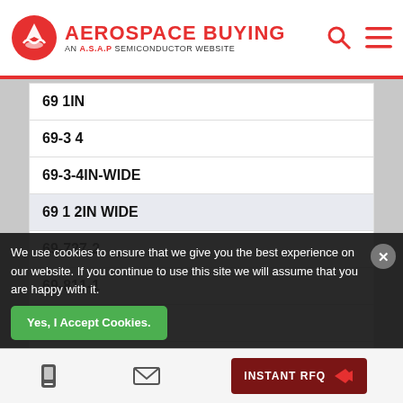AEROSPACE BUYING — AN A.S.A.P SEMICONDUCTOR WEBSITE
69 1IN
69-3 4
69-3-4IN-WIDE
69 1 2IN WIDE
69-727-2
69-811-1
69 1INX36YD
69 1IN WIDE
69 1 4IN WIDE
We use cookies to ensure that we give you the best experience on our website. If you continue to use this site we will assume that you are happy with it.
Yes, I Accept Cookies. | INSTANT RFQ